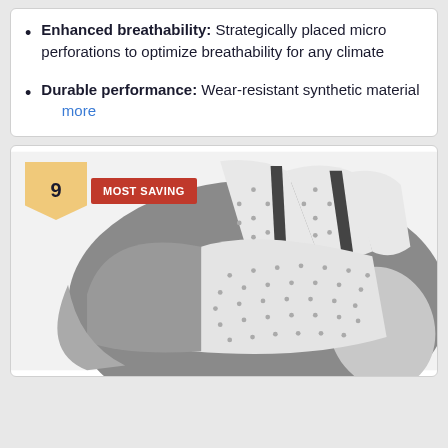Enhanced breathability: Strategically placed micro perforations to optimize breathability for any climate
Durable performance: Wear-resistant synthetic material  more
[Figure (photo): Close-up photo of a golf glove showing gray and white perforated synthetic material with a badge showing number 9 and 'MOST SAVING' label in red]